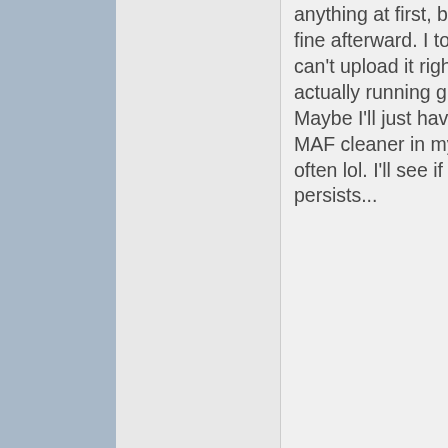anything at first, but seemed to run fine afterward. I took a video but can't upload it right now. The car is actually running great right now... Maybe I'll just have to keep a can of MAF cleaner in my car and check it often lol. I'll see if the problem persists...
0 Likes
Be the first to like this post.
Lance
Don't mind me.
Reply | Reply With Quote
1 2 3 5 Last